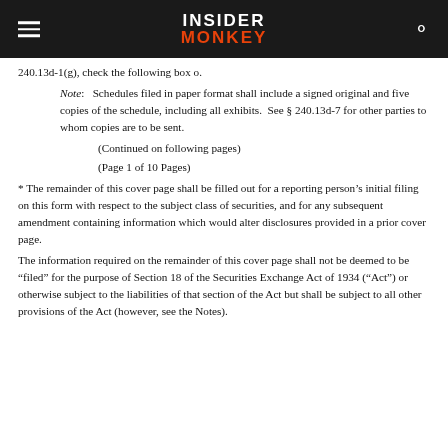INSIDER MONKEY
240.13d-1(g), check the following box o.
Note:   Schedules filed in paper format shall include a signed original and five copies of the schedule, including all exhibits.  See § 240.13d-7 for other parties to whom copies are to be sent.
(Continued on following pages)
(Page 1 of 10 Pages)
* The remainder of this cover page shall be filled out for a reporting person’s initial filing on this form with respect to the subject class of securities, and for any subsequent amendment containing information which would alter disclosures provided in a prior cover page.
The information required on the remainder of this cover page shall not be deemed to be “filed” for the purpose of Section 18 of the Securities Exchange Act of 1934 (“Act”) or otherwise subject to the liabilities of that section of the Act but shall be subject to all other provisions of the Act (however, see the Notes).